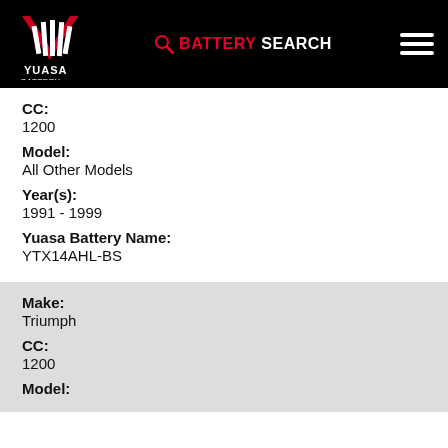[Figure (logo): Yuasa Battery logo with red chevron/V shape and white stripes on black background, text YUASA BATTERY below]
BATTERY SEARCH
CC:
1200
Model:
All Other Models
Year(s):
1991 - 1999
Yuasa Battery Name:
YTX14AHL-BS
Make:
Triumph
CC:
1200
Model: